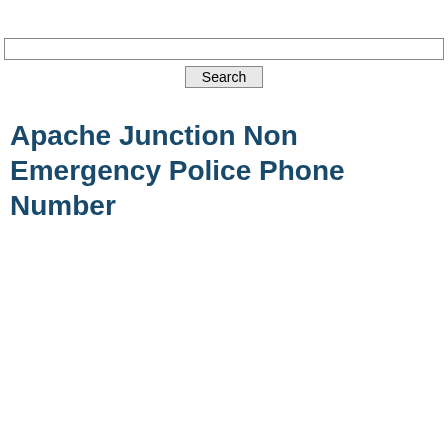[Figure (screenshot): Search input field and Search button]
Apache Junction Non Emergency Police Phone Number